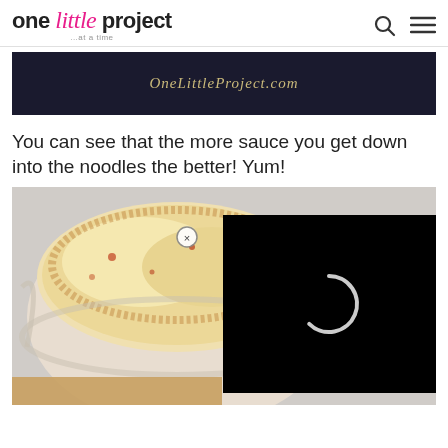one little project ...at a time
[Figure (photo): Dark banner image with gold cursive script reading OneLittleProject.com]
You can see that the more sauce you get down into the noodles the better!  Yum!
[Figure (photo): Close-up photo of cheesy baked pasta dish in a glass bowl with a video overlay loading spinner and close button]